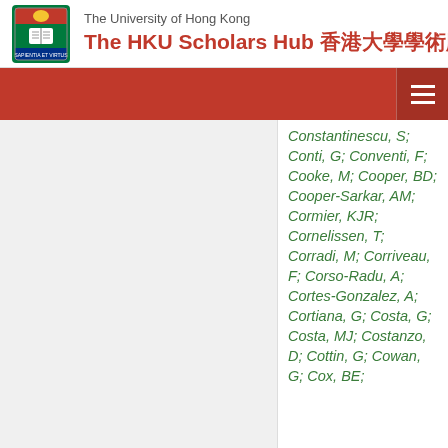The University of Hong Kong — The HKU Scholars Hub 香港大學學術庫
Constantinescu, S; Conti, G; Conventi, F; Cooke, M; Cooper, BD; Cooper-Sarkar, AM; Cormier, KJR; Cornelissen, T; Corradi, M; Corriveau, F; Corso-Radu, A; Cortes-Gonzalez, A; Cortiana, G; Costa, G; Costa, MJ; Costanzo, D; Cottin, G; Cowan, G; Cox, BE;